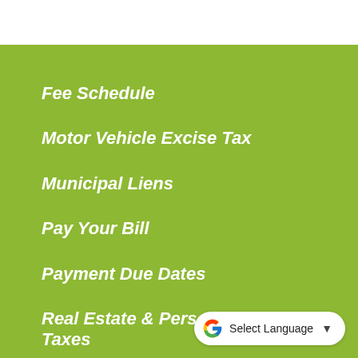Fee Schedule
Motor Vehicle Excise Tax
Municipal Liens
Pay Your Bill
Payment Due Dates
Real Estate & Personal Property Taxes